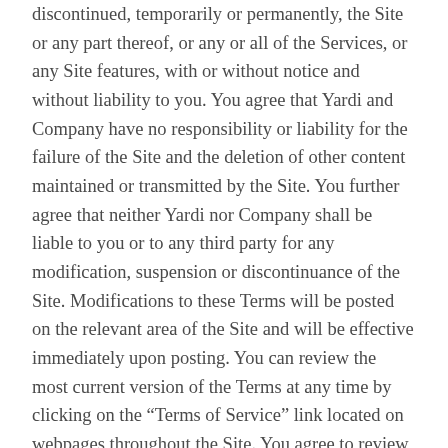discontinued, temporarily or permanently, the Site or any part thereof, or any or all of the Services, or any Site features, with or without notice and without liability to you. You agree that Yardi and Company have no responsibility or liability for the failure of the Site and the deletion of other content maintained or transmitted by the Site. You further agree that neither Yardi nor Company shall be liable to you or to any third party for any modification, suspension or discontinuance of the Site. Modifications to these Terms will be posted on the relevant area of the Site and will be effective immediately upon posting. You can review the most current version of the Terms at any time by clicking on the “Terms of Service” link located on webpages throughout the Site. You agree to review the Terms from time to time to